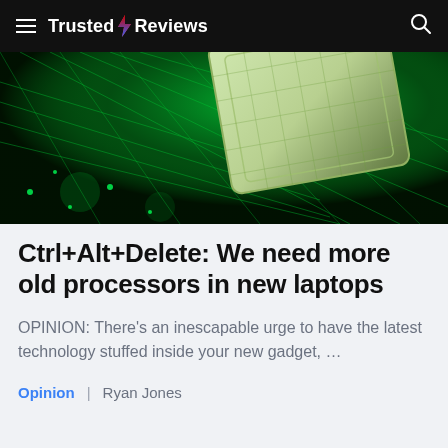Trusted Reviews
[Figure (photo): Close-up of a green-lit computer processor chip or motherboard circuit board with glowing green LED lighting, viewed at an angle]
Ctrl+Alt+Delete: We need more old processors in new laptops
OPINION: There’s an inescapable urge to have the latest technology stuffed inside your new gadget, …
Opinion  |  Ryan Jones